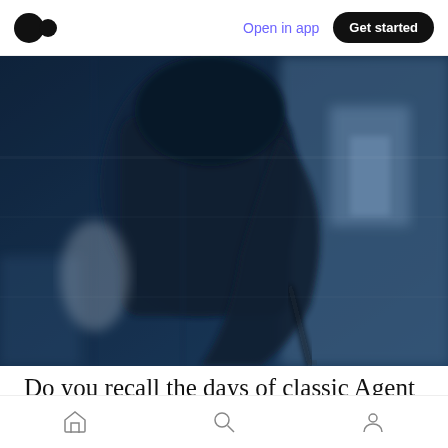Medium app navigation bar with logo, 'Open in app', and 'Get started' button
[Figure (photo): Blurred dark blue-tinted motion photo of a person in a dark suit or coat walking quickly, possibly holding a weapon or umbrella at their side. Strong motion blur gives an espionage/action feel.]
Do you recall the days of classic Agent 007, James Bond? (Sean Connery was my favorite.)
Bottom navigation bar with home, search, and profile icons